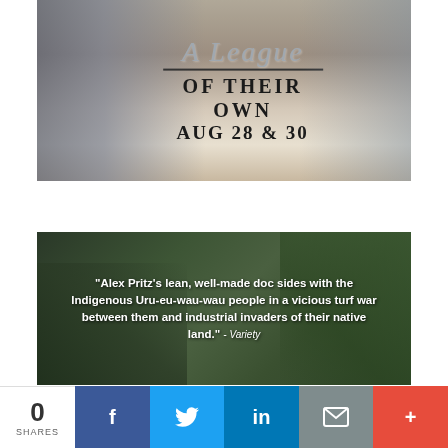[Figure (photo): Movie promotional image for 'A League of Their Own' showing a woman in a white baseball uniform with text overlay: 'A League OF THEIR OWN AUG 28 & 30']
[Figure (photo): Documentary promotional image with jungle/forest background and white text quote: '"Alex Pritz's lean, well-made doc sides with the Indigenous Uru-eu-wau-wau people in a vicious turf war between them and industrial invaders of their native land." - Variety']
0 SHARES
f
Twitter bird icon
in
Email icon
+